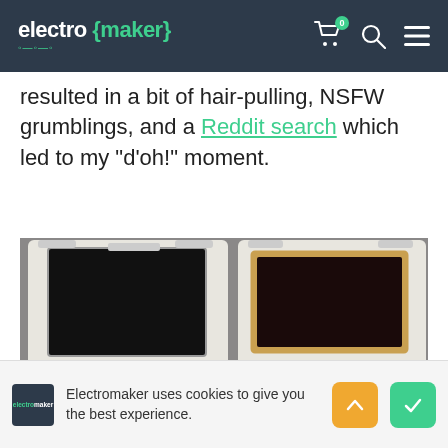electro {maker}
resulted in a bit of hair-pulling, NSFW grumblings, and a Reddit search which led to my "d'oh!" moment.
[Figure (photo): Two handheld gaming devices side by side: a GameSH+ on the left and a Retroflag GPi CASE on the right, both white with dark screens and game controls.]
Electromaker uses cookies to give you the best experience.